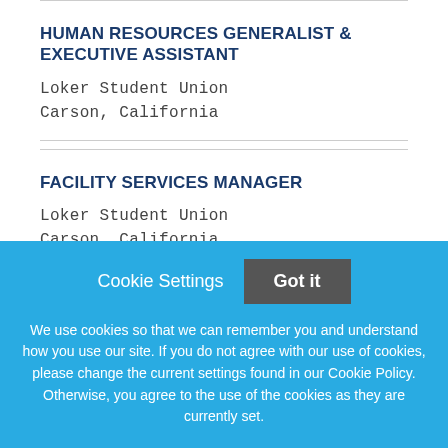HUMAN RESOURCES GENERALIST & EXECUTIVE ASSISTANT
Loker Student Union
Carson, California
FACILITY SERVICES MANAGER
Loker Student Union
Carson, California
Cookie Settings
Got it
We use cookies so that we can remember you and understand how you use our site. If you do not agree with our use of cookies, please change the current settings found in our Cookie Policy. Otherwise, you agree to the use of the cookies as they are currently set.